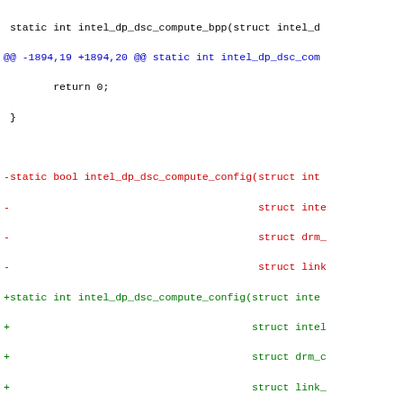[Figure (screenshot): A code diff view showing changes to intel_dp_dsc_compute_config function signature (bool to int return type) and addition of 'int ret;' variable and change of 'return false;' to 'return -EINVAL;'. Black, blue, red, and green colored text on white background in monospace font.]